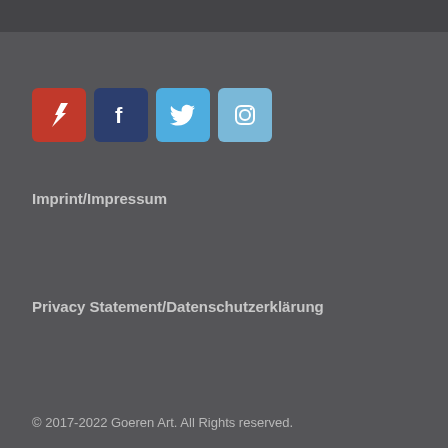[Figure (infographic): Four social media icon buttons in a row: DeviantArt (red), Facebook (dark blue), Twitter (light blue), Instagram (light blue-grey)]
Imprint/Impressum
Privacy Statement/Datenschutzerklärung
© 2017-2022 Goeren Art. All Rights Reserved.